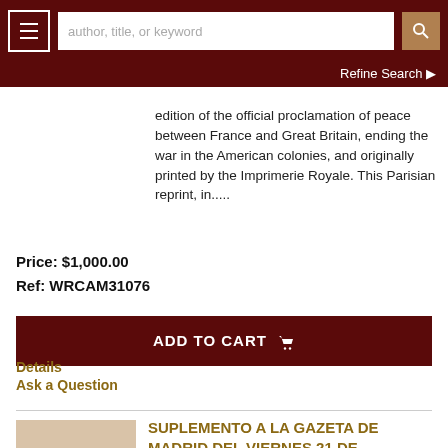author, title, or keyword | Refine Search
edition of the official proclamation of peace between France and Great Britain, ending the war in the American colonies, and originally printed by the Imprimerie Royale. This Parisian reprint, in.....
Price: $1,000.00
Ref: WRCAM31076
ADD TO CART
Details
Ask a Question
SUPLEMENTO A LA GAZETA DE MADRID DEL VIERNES 21 DE